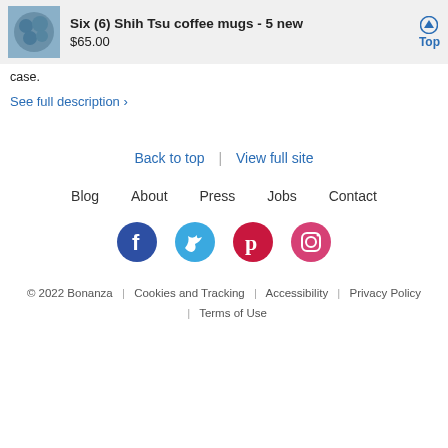Six (6) Shih Tsu coffee mugs - 5 new
$65.00
case.
See full description >
Back to top | View full site
Blog   About   Press   Jobs   Contact
[Figure (illustration): Social media icons: Facebook, Twitter, Pinterest, Instagram]
© 2022 Bonanza | Cookies and Tracking | Accessibility | Privacy Policy | Terms of Use